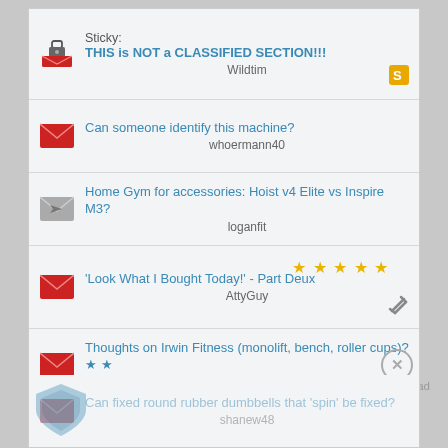Sticky: THIS is NOT a CLASSIFIED SECTION!!! — Wildtim
Can someone identify this machine? — whoermann40
Home Gym for accessories: Hoist v4 Elite vs Inspire M3? — loganfit
'Look What I Bought Today!' - Part Deux — AttyGuy [5 stars]
Thoughts on Irwin Fitness (monolift, bench, roller cups)? — radrd [2 stars]
Report an ad
Can fixed round rubber dumbbells that 'spin' be fixed? — shanew48